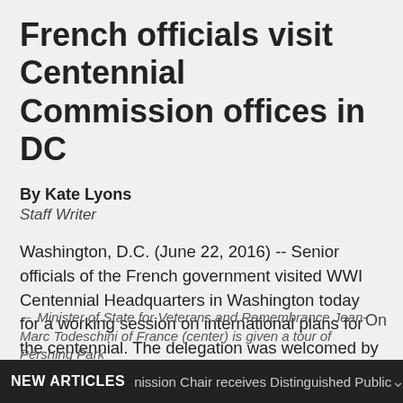French officials visit Centennial Commission offices in DC
By Kate Lyons
Staff Writer
Washington, D.C. (June 22, 2016) -- Senior officials of the French government visited WWI Centennial Headquarters in Washington today for a working session on international plans for the centennial. The delegation was welcomed by Commission Vice Chair Edwin Fountain and Executive Director Dan Dayton.
← Minister of State for Veterans and Remembrance Jean-Marc Todeschini of France (center) is given a tour of Pershing Park
NEW ARTICLES   nission Chair receives Distinguished Public ...